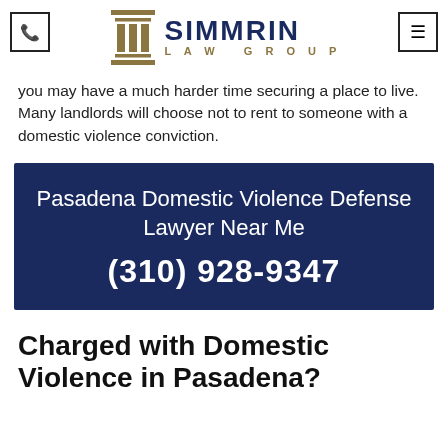SIMMRIN LAW GROUP
you may have a much harder time securing a place to live. Many landlords will choose not to rent to someone with a domestic violence conviction.
[Figure (infographic): Dark navy blue call-to-action box with white text: 'Pasadena Domestic Violence Defense Lawyer Near Me' and phone number '(310) 928-9347']
Charged with Domestic Violence in Pasadena?